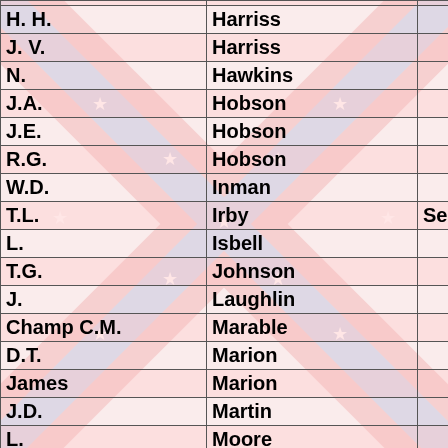| First Name | Last Name | Rank |
| --- | --- | --- |
| H. H. | Harriss |  |
| J. V. | Harriss |  |
| N. | Hawkins |  |
| J.A. | Hobson |  |
| J.E. | Hobson |  |
| R.G. | Hobson |  |
| W.D. | Inman |  |
| T.L. | Irby | Serg |
| L. | Isbell |  |
| T.G. | Johnson |  |
| J. | Laughlin |  |
| Champ C.M. | Marable |  |
| D.T. | Marion |  |
| James | Marion |  |
| J.D. | Martin |  |
| L. | Moore |  |
| L. C. | Moore | Serg |
| J. B. | Paden |  |